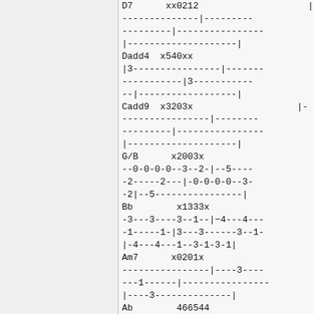D7      xx0212                    |-
--------------|---------
---------|----------------
|-------------------|
Dadd4  x540xx
|3----------------|-------
-----------|3-----------
--|------------------|
Cadd9  x3203x                   |-
----------------|--------
---------|----------------
|-------------------|
G/B      x2003x                    |-
--0-0-0-0--3--2-|--5----
-2-----2---|−0-0-0-0--3-
-2|--5----------------|
Bb        x1333x                    |-
-3---3----3--1--|−4---4---
-1-----1-|3---3------3--1-
|-4---4---1--3-1-3-1|
Am7      x0201x                    |-
----------------|----3----
---1------|----------------
|----|----3--------------|
Ab        466544